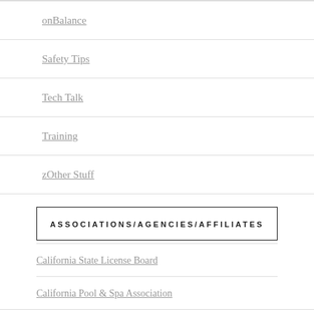onBalance
Safety Tips
Tech Talk
Training
zOther Stuff
ASSOCIATIONS/AGENCIES/AFFILIATES
California State License Board
California Pool & Spa Association